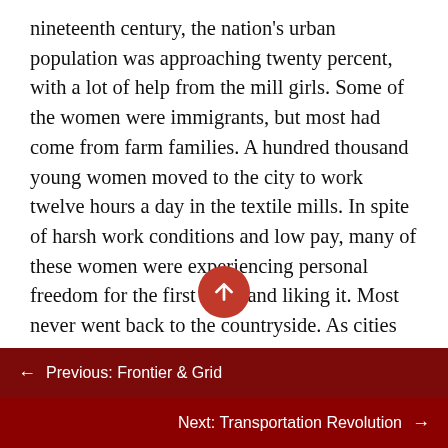nineteenth century, the nation's urban population was approaching twenty percent, with a lot of help from the mill girls. Some of the women were immigrants, but most had come from farm families. A hundred thousand young women moved to the city to work twelve hours a day in the textile mills. In spite of harsh work conditions and low pay, many of these women were experiencing personal freedom for the first time, and liking it. Most never went back to the countryside. As cities like Lowell, Lawrence, and Manchester grew around the mills, they created a new American population group, the urban wage-worker. The mill girls and other factory workers lived a different life and had very different con from those of the families they'd left behind in the countryside. Although they joined
← Previous: Frontier & Grid
Next: Transportation Revolution →